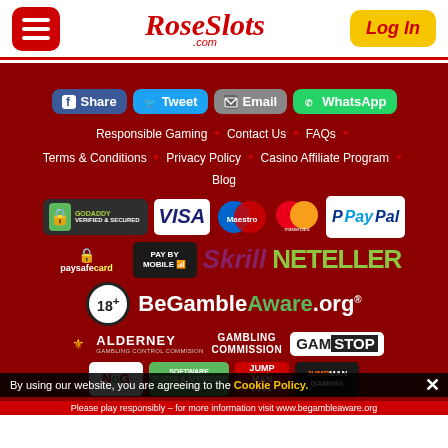RoseSlots.com — Log In
Share
Tweet
Email
WhatsApp
Responsible Gaming • Contact Us • FAQs • Terms & Conditions • Privacy Policy • Casino Affiliate Program • Blog
[Figure (logo): GoDaddy Verified & Secured badge, Visa, Maestro, Mastercard, PayPal payment logos]
[Figure (logo): Paysafecard, Pay By Mobile, Skrill, Neteller payment logos]
[Figure (logo): 18+ BeGambleAware.org logo]
[Figure (logo): Alderney Gambling Control Commission, Gambling Commission, GamStop logos]
[Figure (logo): NOG, Software Tested & Approved by SQS, JumpMan logos]
By using our website, you are agreeing to the Cookie Policy.
Please play responsibly – for more information visit www.begambleaware.org